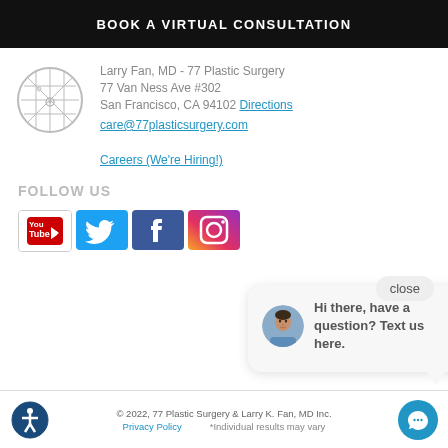BOOK A VIRTUAL CONSULTATION
Larry Fan, MD - 77 Plastic Surgery
77 Van Ness Ave #302
San Francisco, CA 94102 Directions
care@77plasticsurgery.com
Careers (We're Hiring!)
FOLLOW US
[Figure (logo): Social media icons: YouTube, Twitter, Facebook, Instagram]
[Figure (infographic): Chat popup with doctor avatar and text: Hi there, have a question? Text us here.]
© 2022, 77 Plastic Surgery & Larry K. Fan, MD Inc.
Privacy Policy   *Individual results may vary